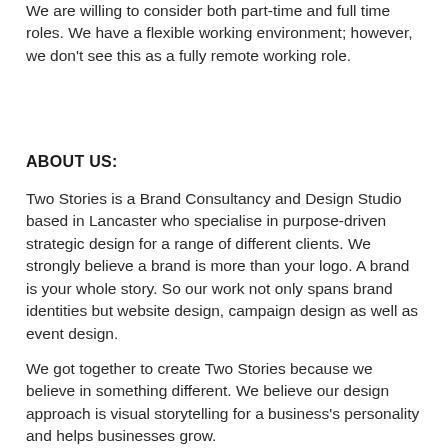We are willing to consider both part-time and full time roles. We have a flexible working environment; however, we don't see this as a fully remote working role.
ABOUT US:
Two Stories is a Brand Consultancy and Design Studio based in Lancaster who specialise in purpose-driven strategic design for a range of different clients. We strongly believe a brand is more than your logo. A brand is your whole story. So our work not only spans brand identities but website design, campaign design as well as event design.
We got together to create Two Stories because we believe in something different. We believe our design approach is visual storytelling for a business's personality and helps businesses grow.